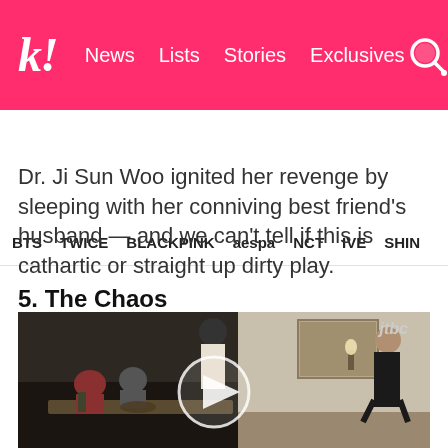k! News  Lists  Stories  Exclusives
BTS  TWICE  BLACKPINK  aespa  NCT  IVE  SHINee
Dr. Ji Sun Woo ignited her revenge by sleeping with her conniving best friend's husband — and we can't tell if this is cathartic or straight up dirty play.
5. The Chaos
[Figure (screenshot): Video still from JTBC Korean drama showing a dining room scene with people seated at a dinner table on the left side and a person in black walking on the right side. A white play button circle is overlaid in the center.]